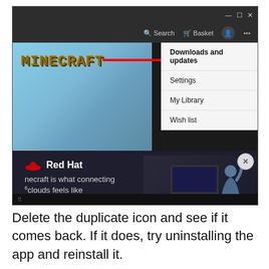[Figure (screenshot): A Windows Microsoft Store screenshot showing Minecraft listing page with a dropdown menu highlighting 'Downloads and updates'. An overlaid Red Hat advertisement showing 'This is what connecting clouds feels like' is visible in the lower portion.]
Delete the duplicate icon and see if it comes back. If it does, try uninstalling the app and reinstall it.